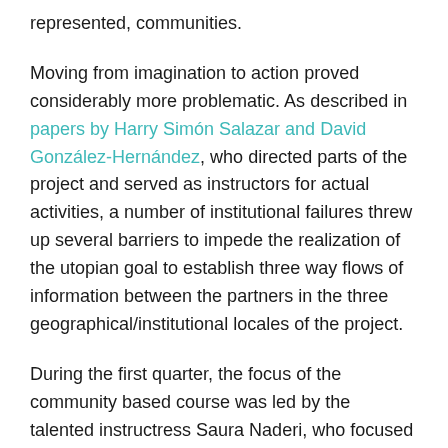represented, communities.
Moving from imagination to action proved considerably more problematic. As described in papers by Harry Simón Salazar and David González-Hernández, who directed parts of the project and served as instructors for actual activities, a number of institutional failures threw up several barriers to impede the realization of the utopian goal to establish three way flows of information between the partners in the three geographical/institutional locales of the project.
During the first quarter, the focus of the community based course was led by the talented instructress Saura Naderi, who focused on robotics, a topic about which neither the UCSD undergrads nor the community youth had any special knowledge, but which both groups